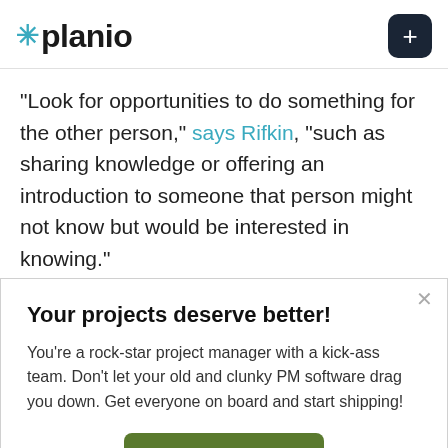planio
"Look for opportunities to do something for the other person," says Rifkin, "such as sharing knowledge or offering an introduction to someone that person might not know but would be interested in knowing."
You can also share your own knowledge, or
Your projects deserve better!
You're a rock-star project manager with a kick-ass team. Don't let your old and clunky PM software drag you down. Get everyone on board and start shipping!
Try Planio today